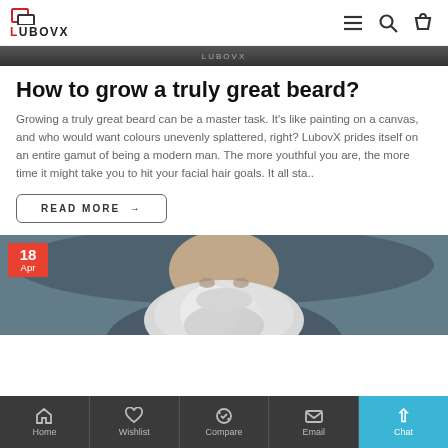LUBOVX
[Figure (photo): Dark banner strip with LubovX logo text]
How to grow a truly great beard?
Growing a truly great beard can be a master task. It's like painting on a canvas, and who would want colours unevenly splattered, right? LubovX prides itself on an entire gamut of being a modern man. The more youthful you are, the more time it might take you to hit your facial hair goals. It all sta..
READ MORE →
[Figure (photo): Photo of elderly man with large grey beard, date badge showing 18 Apr in red]
Home | Wishlist | Compare | Email | Chat